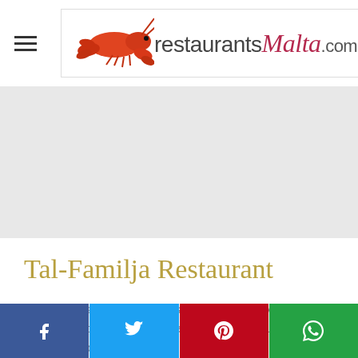restaurantsMalta.com
[Figure (photo): Gray placeholder image area for restaurant photo]
Tal-Familja Restaurant
Food is "freshly cooked and scrumptious. Service is faultless, professional and welcoming. Beautiful ambience and lovely soft music."
Social share buttons: Facebook, Twitter, Pinterest, WhatsApp